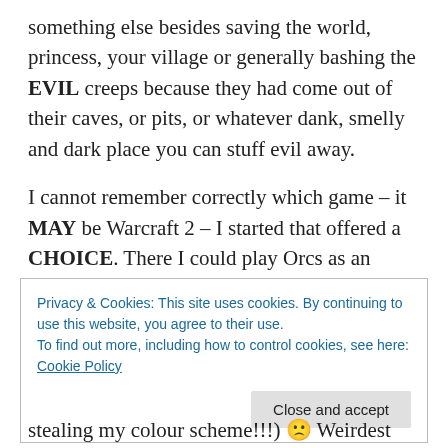something else besides saving the world, princess, your village or generally bashing the EVIL creeps because they had come out of their caves, or pits, or whatever dank, smelly and dark place you can stuff evil away.
I cannot remember correctly which game – it MAY be Warcraft 2 – I started that offered a CHOICE. There I could play Orcs as an alternative to knights and elves and rampage around like Mongol horde, taking everything and killing everyone. Well, the gameplay was not changing by an inch, the map design and missions were exactly the
Privacy & Cookies: This site uses cookies. By continuing to use this website, you agree to their use.
To find out more, including how to control cookies, see here: Cookie Policy
Close and accept
stealing my colour scheme!!!) 🙁 Weirdest and most